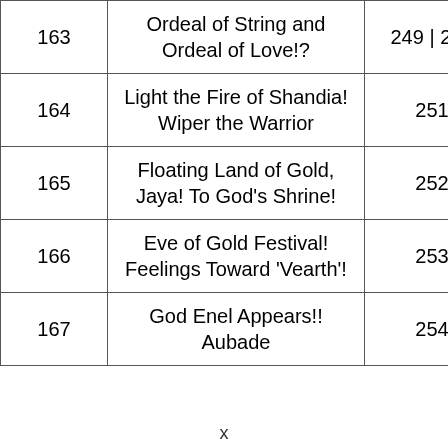| 163 | Ordeal of String and Ordeal of Love!? | 249 | 250 |
| 164 | Light the Fire of Shandia! Wiper the Warrior | 251 |
| 165 | Floating Land of Gold, Jaya! To God's Shrine! | 252 |
| 166 | Eve of Gold Festival! Feelings Toward 'Vearth'! | 253 |
| 167 | God Enel Appears!! Aubade | 254 |
x